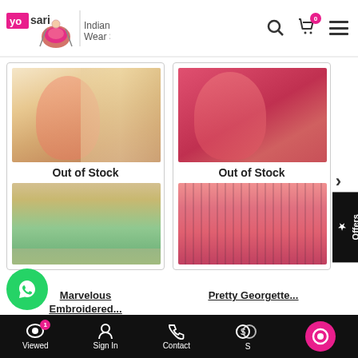[Figure (screenshot): YoSari Indian Ethnic Wear Store website header with logo, search, cart (0 items), and menu icons]
[Figure (photo): Product card 1: Out of Stock saree - beige/cream embroidered saree with pink blouse, and green bottom portion]
Out of Stock
[Figure (photo): Product card 2: Out of Stock saree - red/pink georgette saree with embroidery]
Out of Stock
Marvelous Embroidered...
Pretty Georgette...
[Figure (logo): WhatsApp floating button]
Viewed 1 | Sign In | Contact | S | (chat button)